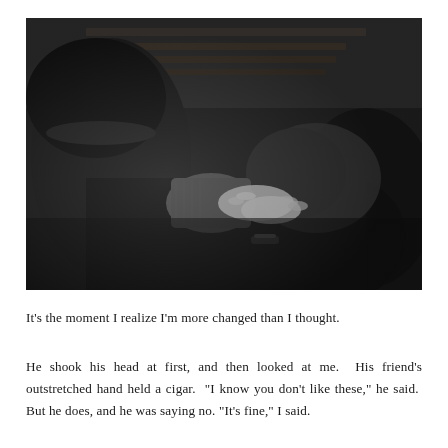[Figure (photo): Black and white photograph of two people sitting on a bench, holding hands. One person wearing a knit sweater sleeve with hands visible, the other person with dark hair. Intimate close-up shot from above.]
It's the moment I realize I'm more changed than I thought.
He shook his head at first, and then looked at me. His friend's outstretched hand held a cigar. "I know you don't like these," he said. But he does, and he was saying no. "It's fine," I said.